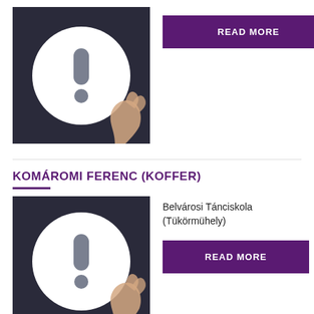[Figure (photo): Hand holding a white circle with an exclamation mark on dark background]
READ MORE
KOMÁROMI FERENC (KOFFER)
[Figure (photo): Hand holding a white circle with an exclamation mark on dark background]
Belvárosi Tánciskola (Tükörmühely)
READ MORE